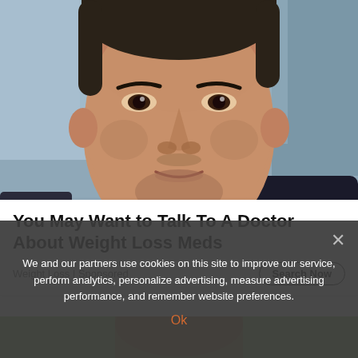[Figure (photo): Close-up photo of a middle-aged man's face, South Asian appearance, looking at camera, blurred background]
You May Want to Talk To A Doctor About Weight Loss Meds
Weight Loss | Sponsored
[Figure (photo): Partial view of a person with reddish-brown hair, bottom portion of the page]
We and our partners use cookies on this site to improve our service, perform analytics, personalize advertising, measure advertising performance, and remember website preferences.
Ok